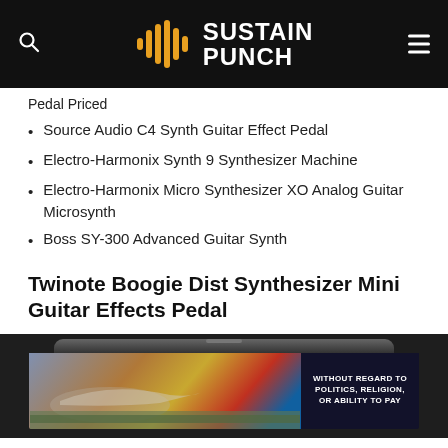SUSTAIN PUNCH
Pedal Priced
Source Audio C4 Synth Guitar Effect Pedal
Electro-Harmonix Synth 9 Synthesizer Machine
Electro-Harmonix Micro Synthesizer XO Analog Guitar Microsynth
Boss SY-300 Advanced Guitar Synth
Twinote Boogie Dist Synthesizer Mini Guitar Effects Pedal
[Figure (screenshot): Advertisement banner showing an airplane being loaded with cargo, with text WITHOUT REGARD TO POLITICS, RELIGION, OR ABILITY TO PAY on a dark blue panel on the right.]